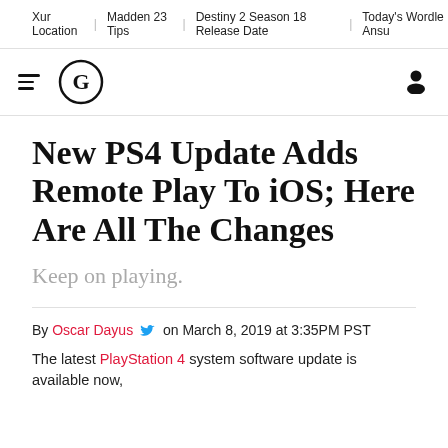Xur Location | Madden 23 Tips | Destiny 2 Season 18 Release Date | Today's Wordle Ansu
[Figure (logo): Hamburger menu icon and GameSpot 'G' logo circle in header navigation bar, with user account icon on right]
New PS4 Update Adds Remote Play To iOS; Here Are All The Changes
Keep on playing.
By Oscar Dayus on March 8, 2019 at 3:35PM PST
The latest PlayStation 4 system software update is available now,